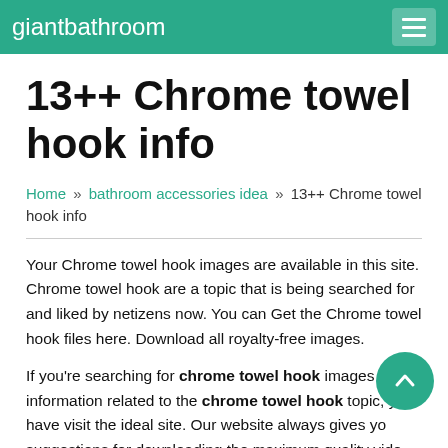giantbathroom
13++ Chrome towel hook info
Home » bathroom accessories idea » 13++ Chrome towel hook info
Your Chrome towel hook images are available in this site. Chrome towel hook are a topic that is being searched for and liked by netizens now. You can Get the Chrome towel hook files here. Download all royalty-free images.
If you're searching for chrome towel hook images information related to the chrome towel hook topic, you have visit the ideal site. Our website always gives you suggestions for downloading the maximum quality video and image content, please kindly surf and find more